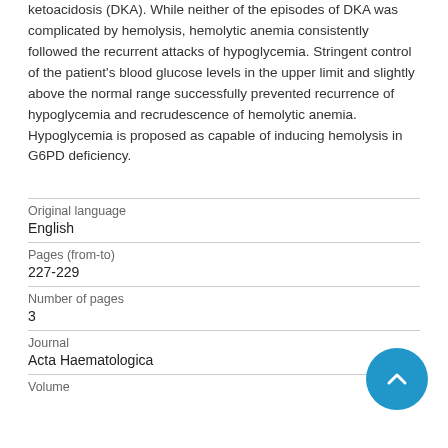ketoacidosis (DKA). While neither of the episodes of DKA was complicated by hemolysis, hemolytic anemia consistently followed the recurrent attacks of hypoglycemia. Stringent control of the patient's blood glucose levels in the upper limit and slightly above the normal range successfully prevented recurrence of hypoglycemia and recrudescence of hemolytic anemia. Hypoglycemia is proposed as capable of inducing hemolysis in G6PD deficiency.
| Field | Value |
| --- | --- |
| Original language | English |
| Pages (from-to) | 227-229 |
| Number of pages | 3 |
| Journal | Acta Haematologica |
| Volume |  |